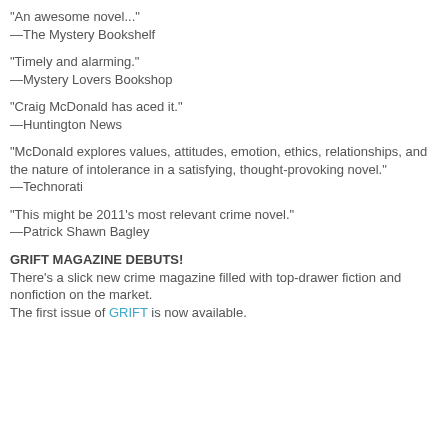"An awesome novel..."
—The Mystery Bookshelf
"Timely and alarming."
—Mystery Lovers Bookshop
"Craig McDonald has aced it."
—Huntington News
"McDonald explores values, attitudes, emotion, ethics, relationships, and the nature of intolerance in a satisfying, thought-provoking novel."
—Technorati
"This might be 2011's most relevant crime novel."
—Patrick Shawn Bagley
GRIFT MAGAZINE DEBUTS!
There's a slick new crime magazine filled with top-drawer fiction and nonfiction on the market.
The first issue of GRIFT is now available.